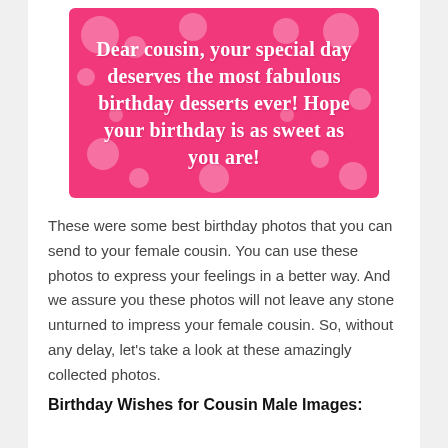[Figure (illustration): Pink birthday card with white bold text reading: Dear cousin, your special day deserves the most fabulous birthday desserts ever! Hope your birthday is as sweet as you are! Decorated with pink polka dots on a hot pink background.]
These were some best birthday photos that you can send to your female cousin. You can use these photos to express your feelings in a better way. And we assure you these photos will not leave any stone unturned to impress your female cousin. So, without any delay, let's take a look at these amazingly collected photos.
Birthday Wishes for Cousin Male Images: